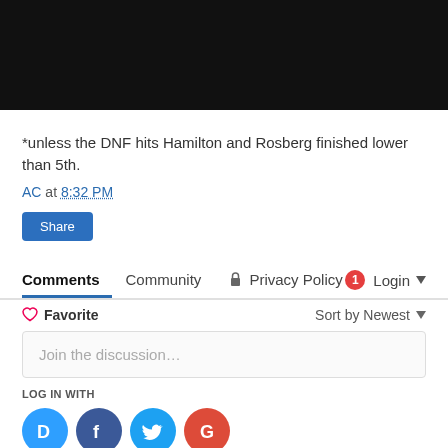[Figure (photo): Black redacted image at top of page]
*unless the DNF hits Hamilton and Rosberg finished lower than 5th.
AC at 8:32 PM
Share
Comments  Community  Privacy Policy  1  Login
Favorite  Sort by Newest
Join the discussion…
LOG IN WITH
[Figure (logo): Social login icons: Disqus (D), Facebook (f), Twitter bird, Google (G)]